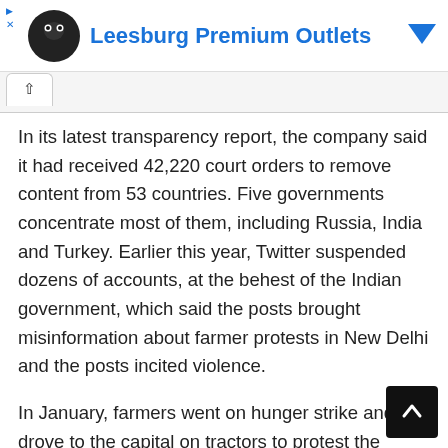[Figure (screenshot): Advertisement banner for Leesburg Premium Outlets with circular logo icon and blue title text, with a blue downward arrow icon on the right.]
In its latest transparency report, the company said it had received 42,220 court orders to remove content from 53 countries. Five governments concentrate most of them, including Russia, India and Turkey. Earlier this year, Twitter suspended dozens of accounts, at the behest of the Indian government, which said the posts brought misinformation about farmer protests in New Delhi and the posts incited violence.
In January, farmers went on hunger strike and drove to the capital on tractors to protest the government's proposed changes, which in practice remove minimum prices for produce. The government has decided to reduce access to the Internet in an attempt to